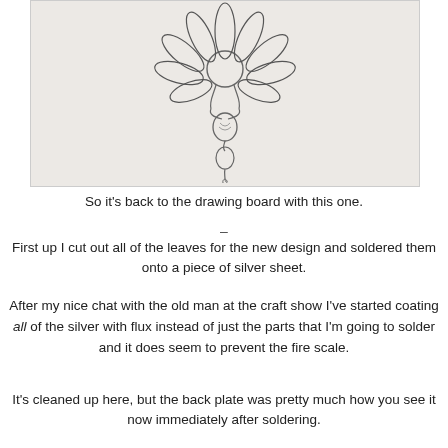[Figure (illustration): Pencil sketch drawing of a flower (lotus/daisy) with petals at top, and below a decorative pendant-like element with circular shapes and a spiral at the bottom, drawn on white paper.]
So it's back to the drawing board with this one.
–
First up I cut out all of the leaves for the new design and soldered them onto a piece of silver sheet.
After my nice chat with the old man at the craft show I've started coating all of the silver with flux instead of just the parts that I'm going to solder and it does seem to prevent the fire scale.
It's cleaned up here, but the back plate was pretty much how you see it now immediately after soldering.